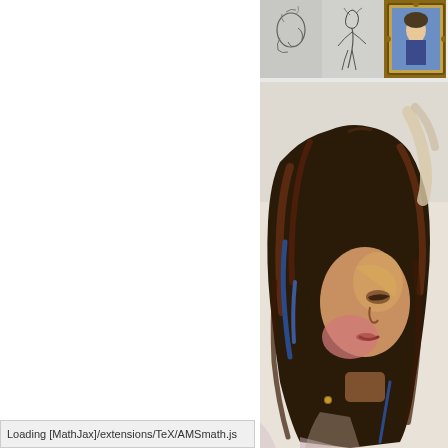[Figure (photo): Three small thumbnail images in a row at top right: pencil sketch of a face in profile, pencil sketch of a figure, and a classical painting portrait in decorative frame]
[Figure (photo): Large oil painting portrait of a woman with dark brown hair, partially visible face turned slightly, loose expressive brushwork with warm and cool tones]
Loading [MathJax]/extensions/TeX/AMSmath.js